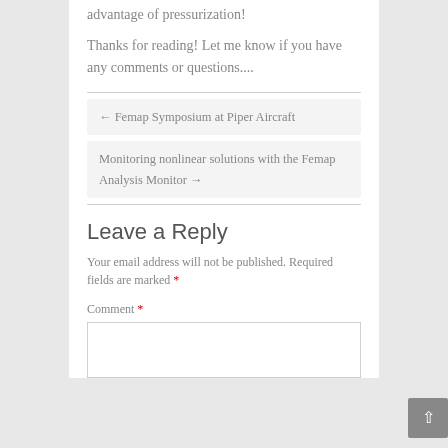advantage of pressurization!
Thanks for reading!  Let me know if you have any comments or questions....
← Femap Symposium at Piper Aircraft
Monitoring nonlinear solutions with the Femap Analysis Monitor →
Leave a Reply
Your email address will not be published. Required fields are marked *
Comment *